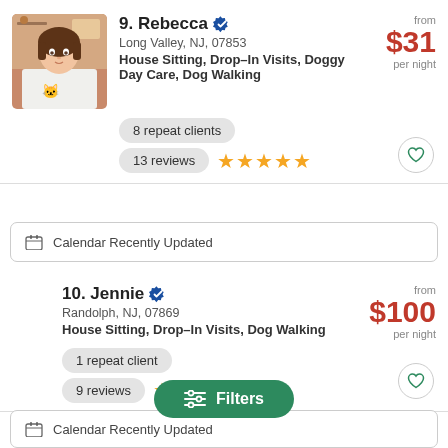9. Rebecca (verified) — Long Valley, NJ, 07853 — House Sitting, Drop-In Visits, Doggy Day Care, Dog Walking — from $31 per night — 8 repeat clients — 13 reviews (5 stars)
[Figure (photo): Profile photo of Rebecca, a woman with brown hair wearing a white sweatshirt with cat design]
Calendar Recently Updated
10. Jennie (verified) — Randolph, NJ, 07869 — House Sitting, Drop-In Visits, Dog Walking — from $100 per night — 1 repeat client — 9 reviews (5 stars)
Calendar Recently Updated